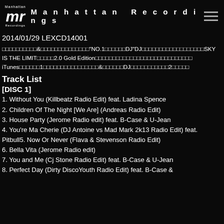Manhattan Recordings
2014/01/29 LEXCD14001
□□□□□□□□□□&□□□□□□□□□□□□□□"NO.1□□□□□□DJ"DJ□□□□□□□□□□□□□□□□□□SKY IS THE LIMIT□□□□□2.0 Gold Edition□□□□□□□□□□□□□□□□□□□□□□□□□□□□ iTunes□□□□□□1□□□□□□□□□□□□□□□□&□□□□□□DJ□□□□□□□□□□□2□□□□□
Track List
[DISC 1]
1. Without You (Killbeatz Radio Edit) feat. Ladina Spence
2. Children Of The Night [We Are] (Andreas Radio Edit)
3. House Party (Jerome Radio edit) feat. B-Case & U-Jean
4. You're Ma Cherie (DJ Antoine vs Mad Mark 2k13 Radio Edit) feat. Pitbull5. Now Or Never (Flava & Stevenson Radio Edit)
6. Bella Vita (Jerome Radio edit)
7. You and Me (Cj Stone Radio Edit) feat. B-Case & U-Jean
8. Perfect Day (Dirty DiscoYouth Radio Edit) feat. B-Case &